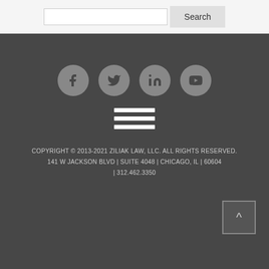[Figure (screenshot): Search bar with input box and Search button]
[Figure (infographic): Social media icons: Facebook, Twitter, LinkedIn, YouTube circles on dark background, plus hamburger menu icon]
COPYRIGHT © 2013-2021 ZILIAK LAW, LLC. ALL RIGHTS RESERVED. 141 W JACKSON BLVD | SUITE 4048 | CHICAGO, IL | 60604 | 312.462.3350